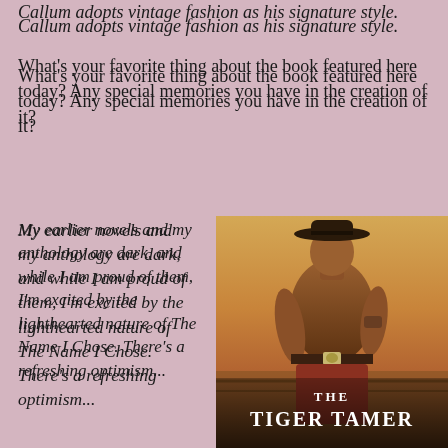Callum adopts vintage fashion as his signature style.
What's your favorite thing about the book featured here today? Any special memories you have in the creation of it?
My earlier novels and my anthology are dark, and while I am proud of them, I'm excited by the lighthearted nature of The Name I Chose. There's a refreshing optimism...
[Figure (photo): Book cover of 'The Tiger Tamer' showing a shirtless muscular man wearing a cowboy hat and rodeo belt buckle, with an outdoor ranch scene in the background.]